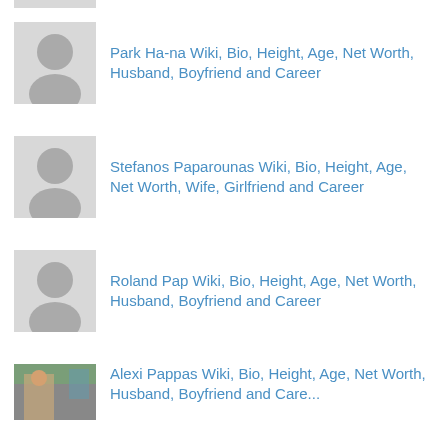[Figure (photo): Partial placeholder avatar image at top]
Park Ha-na Wiki, Bio, Height, Age, Net Worth, Husband, Boyfriend and Career
Stefanos Paparounas Wiki, Bio, Height, Age, Net Worth, Wife, Girlfriend and Career
Roland Pap Wiki, Bio, Height, Age, Net Worth, Husband, Boyfriend and Career
Alexi Pappas Wiki, Bio, Height, Age, Net Worth, Husband, Boyfriend and Career